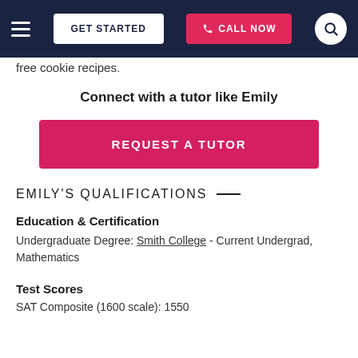GET STARTED | CALL NOW
free cookie recipes.
Connect with a tutor like Emily
REQUEST A TUTOR
EMILY'S QUALIFICATIONS
Education & Certification
Undergraduate Degree: Smith College - Current Undergrad, Mathematics
Test Scores
SAT Composite (1600 scale): 1550